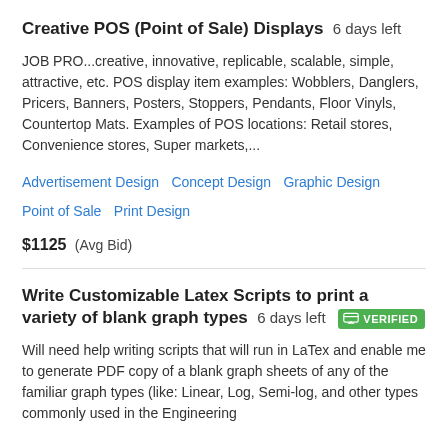Creative POS (Point of Sale) Displays  6 days left
JOB PRO...creative, innovative, replicable, scalable, simple, attractive, etc. POS display item examples: Wobblers, Danglers, Pricers, Banners, Posters, Stoppers, Pendants, Floor Vinyls, Countertop Mats. Examples of POS locations: Retail stores, Convenience stores, Super markets,...
Advertisement Design   Concept Design   Graphic Design   Point of Sale   Print Design
$1125  (Avg Bid)
Write Customizable Latex Scripts to print a variety of blank graph types  6 days left  VERIFIED
Will need help writing scripts that will run in LaTex and enable me to generate PDF copy of a blank graph sheets of any of the familiar graph types (like: Linear, Log, Semi-log, and other types commonly used in the Engineering